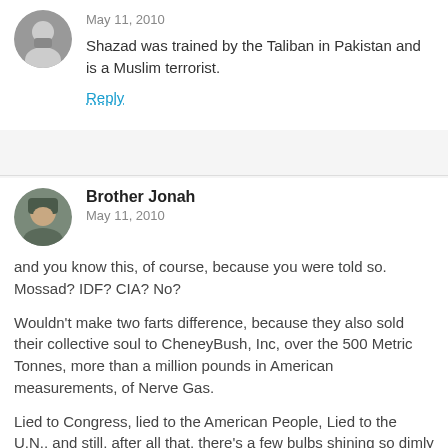May 11, 2010
Shazad was trained by the Taliban in Pakistan and is a Muslim terrorist.
Reply
Brother Jonah
May 11, 2010
and you know this, of course, because you were told so. Mossad? IDF? CIA? No?
Wouldn't make two farts difference, because they also sold their collective soul to CheneyBush, Inc, over the 500 Metric Tonnes, more than a million pounds in American measurements, of Nerve Gas.
Lied to Congress, lied to the American People, Lied to the U.N., and still, after all that, there's a few bulbs shining so dimly that they actually take the word of Proven Liars to be incontestable truth.
And then, there are some who know better, have enough education and intellect to KNOW that what they're saying isn't true (ahem…) and do it anyway.
There would be no crime in being stupid. Or ignorant. And